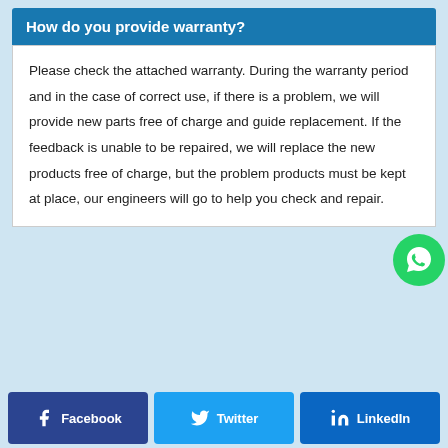How do you provide warranty?
Please check the attached warranty. During the warranty period and in the case of correct use, if there is a problem, we will provide new parts free of charge and guide replacement. If the feedback is unable to be repaired, we will replace the new products free of charge, but the problem products must be kept at place, our engineers will go to help you check and repair.
Facebook  Twitter  LinkedIn